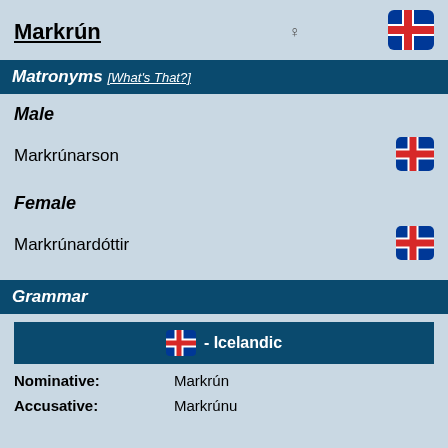Markrún ♀
Matronyms [What's That?]
Male
Markrúnarson
Female
Markrúnardóttir
Grammar
- Icelandic
Nominative: Markrún
Accusative: Markrúnu